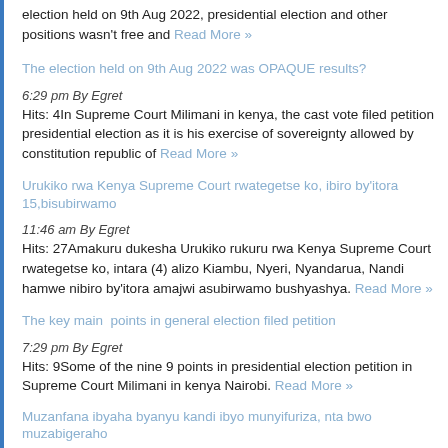election held on 9th Aug 2022, presidential election and other positions wasn't free and Read More »
The election held on 9th Aug 2022 was OPAQUE results?
6:29 pm By Egret
Hits: 4In Supreme Court Milimani in kenya, the cast vote filed petition presidential election as it is his exercise of sovereignty allowed by constitution republic of Read More »
Urukiko rwa Kenya Supreme Court rwategetse ko, ibiro by'itora 15,bisubirwamo
11:46 am By Egret
Hits: 27Amakuru dukesha Urukiko rukuru rwa Kenya Supreme Court rwategetse ko, intara (4) alizo Kiambu, Nyeri, Nyandarua, Nandi hamwe nibiro by'itora amajwi asubirwamo bushyashya. Read More »
The key main  points in general election filed petition
7:29 pm By Egret
Hits: 9Some of the nine 9 points in presidential election petition in Supreme Court Milimani in kenya Nairobi. Read More »
Muzanfana ibyaha byanyu kandi ibyo munyifuriza, nta bwo muzabigeraho